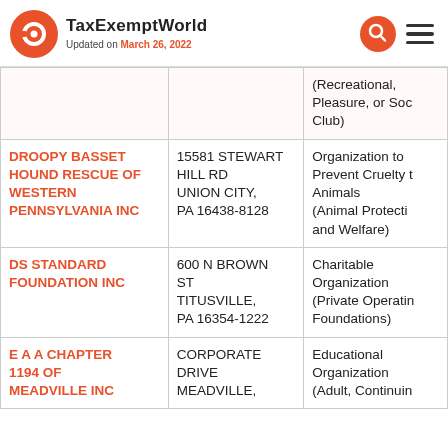TaxExemptWorld — Updated on March 26, 2022
| Name | Address | Classification |
| --- | --- | --- |
|  |  | (Recreational, Pleasure, or Social Club) |
| DROOPY BASSET HOUND RESCUE OF WESTERN PENNSYLVANIA INC | 15581 STEWART HILL RD UNION CITY, PA 16438-8128 | Organization to Prevent Cruelty to Animals (Animal Protection and Welfare) |
| DS STANDARD FOUNDATION INC | 600 N BROWN ST TITUSVILLE, PA 16354-1222 | Charitable Organization (Private Operating Foundations) |
| E A A CHAPTER 1194 OF MEADVILLE INC | CORPORATE DRIVE MEADVILLE, | Educational Organization (Adult, Continuing |